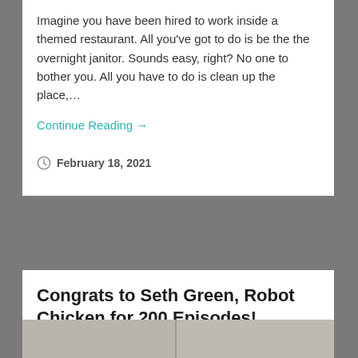Imagine you have been hired to work inside a themed restaurant. All you've got to do is be the the overnight janitor. Sounds easy, right? No one to bother you. All you have to do is clean up the place,…
Continue Reading →
February 18, 2021
Congrats to Seth Green, Robot Chicken for 200 Episodes!
[Figure (photo): Photo of people standing together, partially visible at the bottom of the page]